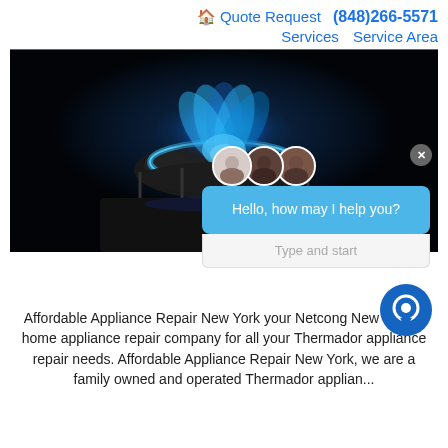🏠 Quote Request  (848)266-5571  Services  Service Area
[Figure (screenshot): A gas stove burner with blue flame on dark background, with a customer service chat widget overlay showing three agent avatars, message 'Hello, how may I help you?' and a 'Type and start' input field.]
Affordable Appliance Repair New York your Netcong New Jersey home appliance repair company for all your Thermador appliance repair needs. Affordable Appliance Repair New York, we are a family owned and operated Thermador applian...